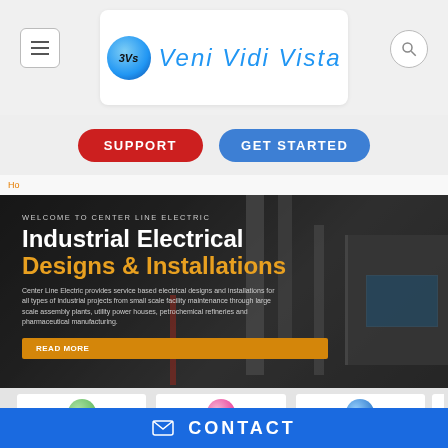[Figure (screenshot): Website header with hamburger menu icon on left, 3Vs Veni Vidi Vista logo in center white panel, and search icon on right]
SUPPORT
GET STARTED
Ho
[Figure (screenshot): Hero banner for Center Line Electric with industrial electrical substation background. Text: WELCOME TO CENTER LINE ELECTRIC, Industrial Electrical Designs & Installations. Description of services. READ MORE button.]
Industrial Electrical Designs & Installations
Center Line Electric provides service based electrical designs and installations for all types of industrial projects from small scale facility maintenance through large scale assembly plants, utility power houses, petrochemical refineries and pharmaceutical manufacturing.
[Figure (screenshot): Three circular icon thumbnails in white cards partially visible at bottom]
CONTACT